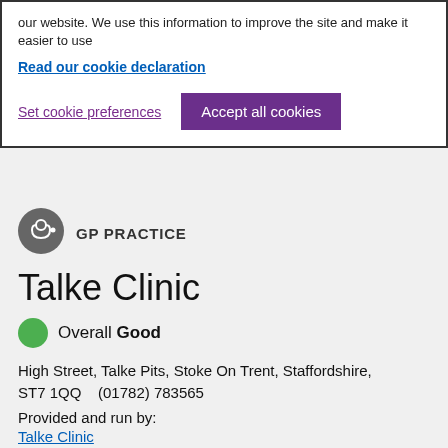our website. We use this information to improve the site and make it easier to use
Read our cookie declaration
Set cookie preferences
Accept all cookies
[Figure (logo): GP Practice stethoscope icon in grey circle]
GP PRACTICE
Talke Clinic
Overall Good
High Street, Talke Pits, Stoke On Trent, Staffordshire, ST7 1QQ    (01782) 783565
Provided and run by:
Talke Clinic